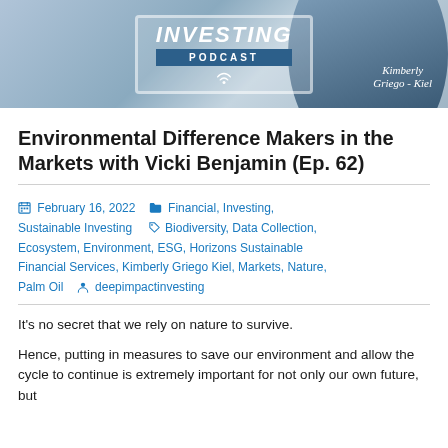[Figure (photo): Podcast banner image showing 'Investing Podcast' sign with wifi icon and a woman (Kimberly Griego-Kiel) on the right side against a blue/grey mountain background]
Environmental Difference Makers in the Markets with Vicki Benjamin (Ep. 62)
February 16, 2022   Financial, Investing, Sustainable Investing   Biodiversity, Data Collection, Ecosystem, Environment, ESG, Horizons Sustainable Financial Services, Kimberly Griego Kiel, Markets, Nature, Palm Oil   deepimpactinvesting
It’s no secret that we rely on nature to survive.
Hence, putting in measures to save our environment and allow the cycle to continue is extremely important for not only our own future, but